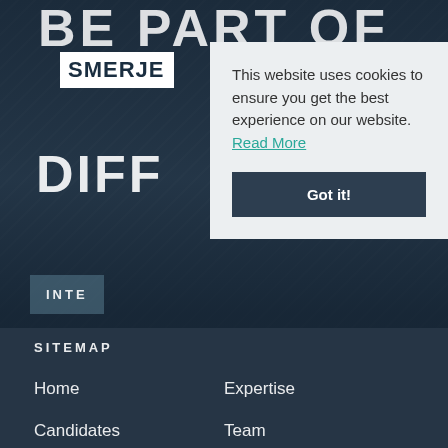BE PART OF
SMERJE
DIFF
INTE
[Figure (screenshot): Cookie consent modal popup with message 'This website uses cookies to ensure you get the best experience on our website. Read More' and a 'Got it!' button]
This website uses cookies to ensure you get the best experience on our website. Read More
SITEMAP
Home
Expertise
Candidates
Team
Clients
News